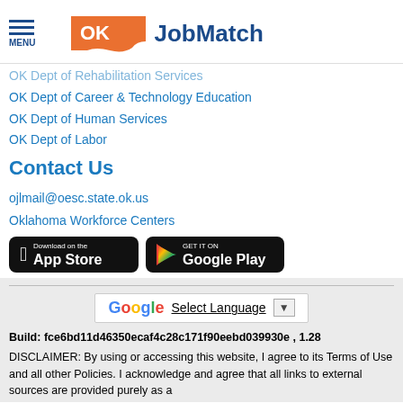MENU | OK JobMatch
OK Dept of Rehabilitation Services
OK Dept of Career & Technology Education
OK Dept of Human Services
OK Dept of Labor
Contact Us
ojlmail@oesc.state.ok.us
Oklahoma Workforce Centers
[Figure (screenshot): Download on the App Store button (black rounded rectangle with Apple logo)]
[Figure (screenshot): Get it on Google Play button (black rounded rectangle with Google Play triangle logo)]
[Figure (screenshot): Google Translate widget showing 'Select Language' with dropdown arrow]
Build: fce6bd11d46350ecaf4c28c171f90eebd039930e , 1.28
DISCLAIMER: By using or accessing this website, I agree to its Terms of Use and all other Policies. I acknowledge and agree that all links to external sources are provided purely as a